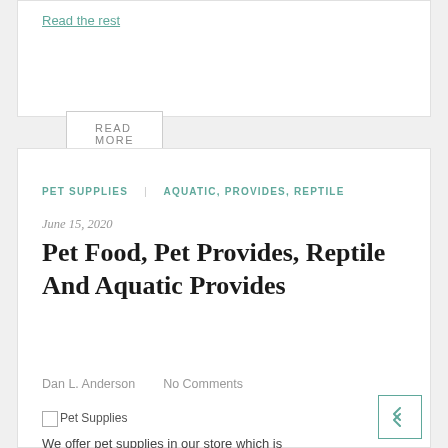Read the rest
READ MORE
PET SUPPLIES    AQUATIC, PROVIDES, REPTILE
June 15, 2020
Pet Food, Pet Provides, Reptile And Aquatic Provides
Dan L. Anderson    No Comments
[Figure (other): Pet Supplies thumbnail image placeholder]
We offer pet supplies in our store which is